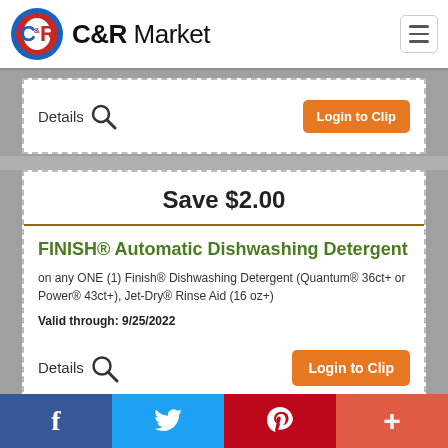[Figure (logo): C&R Market logo with circular C&R emblem and brand name text]
Details
Login to Clip
Save $2.00
FINISH® Automatic Dishwashing Detergent
on any ONE (1) Finish® Dishwashing Detergent (Quantum® 36ct+ or Power® 43ct+), Jet-Dry® Rinse Aid (16 oz+)
Valid through: 9/25/2022
Details
Login to Clip
Facebook  Twitter  Pinterest  More